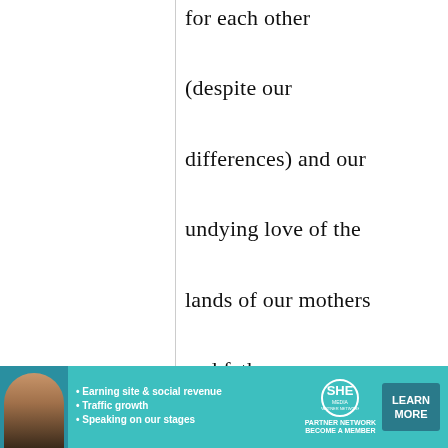for each other (despite our differences) and our undying love of the lands of our mothers and fathers.

Thank you so much for sharing this with me...

Arrigato

Melvis
[Figure (infographic): Advertisement banner for SHE Partner Network with a woman photo, bullet points about earning site & social revenue, traffic growth, speaking on stages, SHE logo, and a Learn More button]